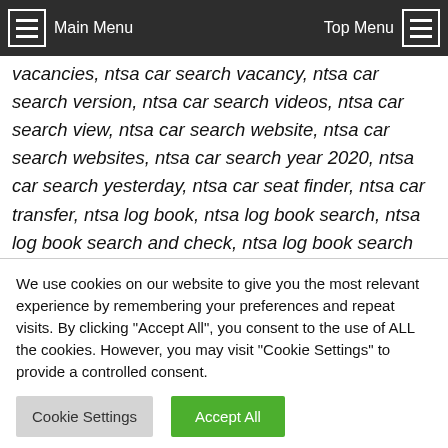Main Menu | Top Menu
vacancies, ntsa car search vacancy, ntsa car search version, ntsa car search videos, ntsa car search view, ntsa car search website, ntsa car search websites, ntsa car search year 2020, ntsa car search yesterday, ntsa car seat finder, ntsa car transfer, ntsa log book, ntsa log book search, ntsa log book search and check, ntsa log book search app, ntsa log book search application, ntsa log book search by name, ntsa log book search database, ntsa log book search
We use cookies on our website to give you the most relevant experience by remembering your preferences and repeat visits. By clicking "Accept All", you consent to the use of ALL the cookies. However, you may visit "Cookie Settings" to provide a controlled consent.
Cookie Settings
Accept All